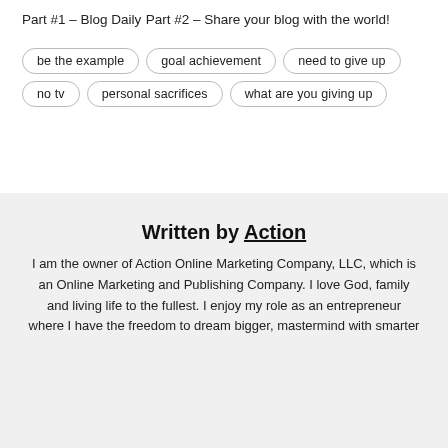Part #1 – Blog Daily
Part #2 – Share your blog with the world!
be the example | goal achievement | need to give up | no tv | personal sacrifices | what are you giving up
Written by Action
I am the owner of Action Online Marketing Company, LLC, which is an Online Marketing and Publishing Company. I love God, family and living life to the fullest. I enjoy my role as an entrepreneur where I have the freedom to dream bigger, mastermind with smarter